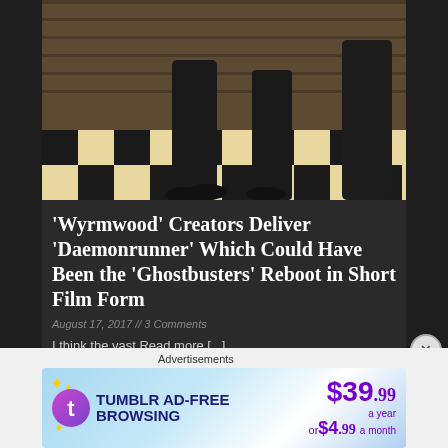[Figure (photo): Photo showing lower halves of people standing on a black-and-white checkered floor with wooden wall in background]
'Wyrmwood' Creators Deliver 'Daemonrunner' Which Could Have Been the 'Ghostbusters' Reboot in Short Film Form
August 17, 2017 // 3 Comments
I think the vast Read more [...]
Interviews
[Figure (photo): Green outdoor photo partially visible]
Advertisements
[Figure (infographic): Tumblr AD-FREE BROWSING advertisement banner: $39.99 a year or $4.99 a month]